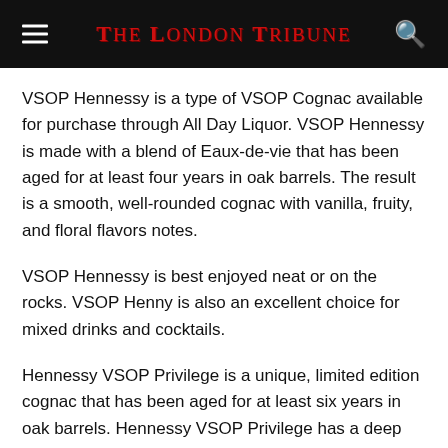The London Tribune
VSOP Hennessy is a type of VSOP Cognac available for purchase through All Day Liquor. VSOP Hennessy is made with a blend of Eaux-de-vie that has been aged for at least four years in oak barrels. The result is a smooth, well-rounded cognac with vanilla, fruity, and floral flavors notes.
VSOP Hennessy is best enjoyed neat or on the rocks. VSOP Henny is also an excellent choice for mixed drinks and cocktails.
Hennessy VSOP Privilege is a unique, limited edition cognac that has been aged for at least six years in oak barrels. Hennessy VSOP Privilege has a deep amber color and rich, complex flavor profile that includes vanilla, honey, floral, and spice notes.